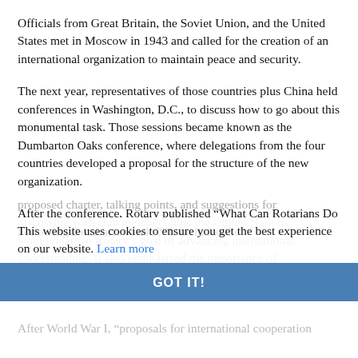Officials from Great Britain, the Soviet Union, and the United States met in Moscow in 1943 and called for the creation of an international organization to maintain peace and security.
The next year, representatives of those countries plus China held conferences in Washington, D.C., to discuss how to go about this monumental task. Those sessions became known as the Dumbarton Oaks conference, where delegations from the four countries developed a proposal for the structure of the new organization.
After the conference, Rotary published “What Can Rotarians Do Following Dumbarton Oaks?” It included the proposed charter, talking points, and suggestions for discussing with club members how the United Nations would relate to Rotary’s goal of advancing international understanding. It also emphasized the importance of having a plan ready for when the war ended, rather than waiting until the fighting stopped.
This website uses cookies to ensure you get the best experience on our website. Learn more
GOT IT!
After World War I, “proposals for international cooperation